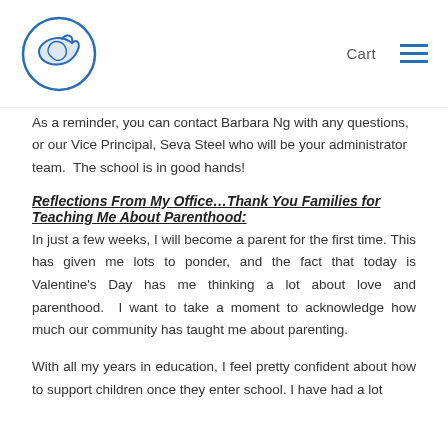Cart [navigation menu]
As a reminder, you can contact Barbara Ng with any questions, or our Vice Principal, Seva Steel who will be your administrator team.  The school is in good hands!
Reflections From My Office…Thank You Families for Teaching Me About Parenthood:
In just a few weeks, I will become a parent for the first time.  This has given me lots to ponder, and the fact that today is Valentine's Day has me thinking a lot about love and parenthood.  I want to take a moment to acknowledge how much our community has taught me about parenting.
With all my years in education, I feel pretty confident about how to support children once they enter school. I have had a lot